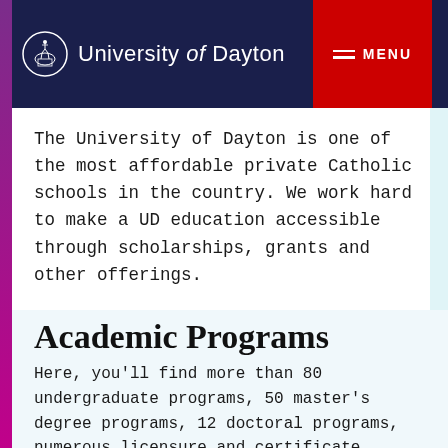University of Dayton — MENU
The University of Dayton is one of the most affordable private Catholic schools in the country. We work hard to make a UD education accessible through scholarships, grants and other offerings.
Explore Financial Aid →
Academic Programs
Here, you'll find more than 80 undergraduate programs, 50 master's degree programs, 12 doctoral programs, numerous licensure and certificate